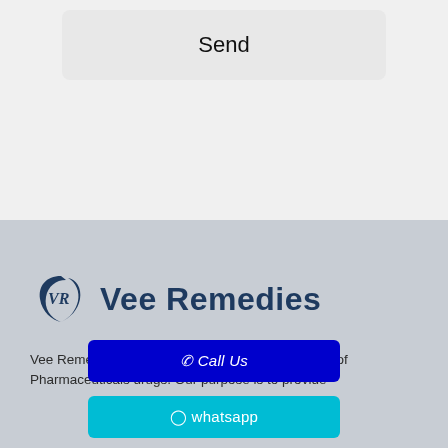Send
[Figure (logo): Vee Remedies logo with stylized VR monogram and company name]
Vee Remedies is India's prime marketing company of Pharmaceuticals drugs. Our purpose is to provide
📞 Call Us
⊙ whatsapp